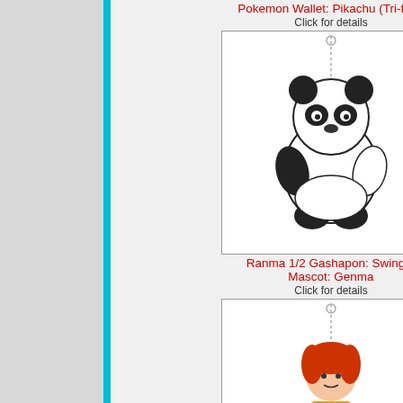Pokemon Wallet: Pikachu (Tri-fold)
Click for details
[Figure (photo): Ranma 1/2 Gashapon Swinger Mascot: Genma - panda figure with keychain ball chain]
Ranma 1/2 Gashapon: Swinger Mascot: Genma
Click for details
[Figure (photo): Digimon Adventure Gashapon Mascot Swinger: Izzy Izumi - small character figure with red hair on ball chain]
Digimon Adventure Gashapon: Mascot Swingers: Izzy Izumi
Click for details
[Figure (photo): Set of anime pinback buttons/pins showing various characters]